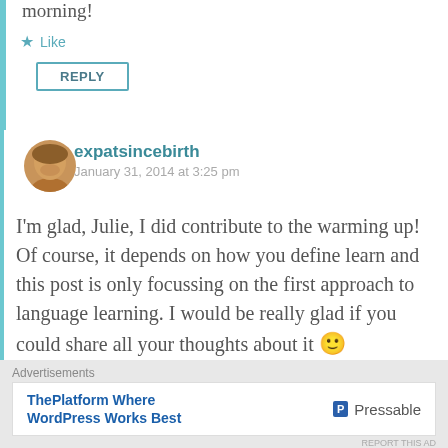morning!
★ Like
REPLY
expatsincebirth
January 31, 2014 at 3:25 pm
I'm glad, Julie, I did contribute to the warming up! Of course, it depends on how you define learn and this post is only focussing on the first approach to language learning. I would be really glad if you could share all your thoughts about it 🙂
Advertisements
ThePlatform Where WordPress Works Best — Pressable